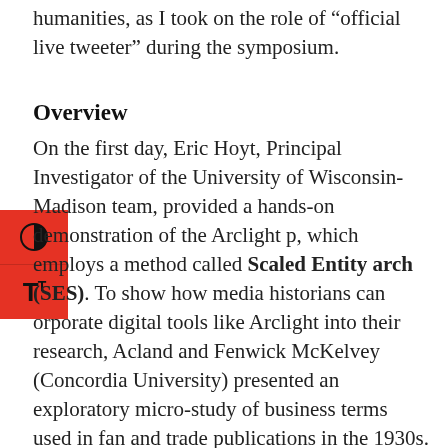humanities, as I took on the role of “official live tweeter” during the symposium.
Overview
On the first day, Eric Hoyt, Principal Investigator of the University of Wisconsin-Madison team, provided a hands-on demonstration of the Arclight p, which employs a method called Scaled Entity arch (SES). To show how media historians can orporate digital tools like Arclight into their research, Acland and Fenwick McKelvey (Concordia University) presented an exploratory micro-study of business terms used in fan and trade publications in the 1930s. The day ended with a lively keynote address delivered by film critic and scholar Deb Verhoeven (Deakin University, Australia), entitled “Show me the History! Big Data